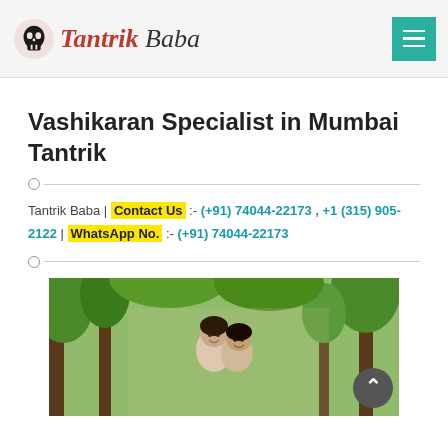Tantrik Baba
Vashikaran Specialist in Mumbai Tantrik
Tantrik Baba | Contact Us :- (+91) 74044-22173 , +1 (315) 905-2122 | WhatsApp No. :- (+91) 74044-22173
[Figure (photo): A couple smiling outdoors with tropical trees in the background]